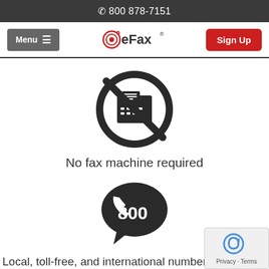📞 800 878-7151
[Figure (logo): eFax logo with navigation bar: Menu button on left, eFax logo in center, Sign Up button on right]
[Figure (illustration): No fax machine required icon: circle with a crossed-out fax machine]
No fax machine required
[Figure (illustration): 800 toll-free number icon: dark speech bubble with phone handset and 800 text]
Local, toll-free, and international numbers ava...
[Figure (illustration): Partially visible icon at bottom of page]